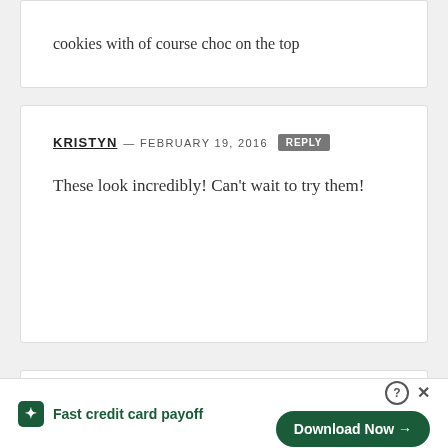cookies with of course choc on the top
KRISTYN — FEBRUARY 19, 2016 REPLY
These look incredibly! Can't wait to try them!
LAURA @ LAURA'S CULINARY ADVENTURES — FEBRUARY 23, 2016 REPLY
These look fantastic! I have a long had a thing for chocolate and peanut butter :). Making a big purchase is stressful!
tally Fast credit card payoff Download Now →